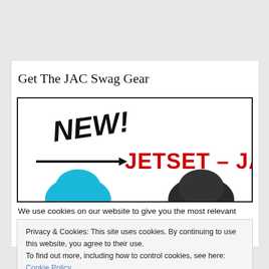Get The JAC Swag Gear
[Figure (screenshot): Advertisement banner showing 'NEW!' in handwritten style with an arrow pointing to 'JETSET – JAC GEAR' in bold red text, with partial images of a blue hat and a black garment below.]
We use cookies on our website to give you the most relevant experience by remembering your preferences and repeat visits. By
Privacy & Cookies: This site uses cookies. By continuing to use this website, you agree to their use.
To find out more, including how to control cookies, see here: Cookie Policy
Close and accept